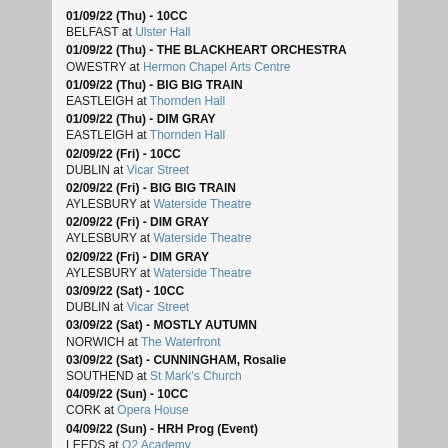01/09/22 (Thu) - 10CC
BELFAST at Ulster Hall
01/09/22 (Thu) - THE BLACKHEART ORCHESTRA
OWESTRY at Hermon Chapel Arts Centre
01/09/22 (Thu) - BIG BIG TRAIN
EASTLEIGH at Thornden Hall
01/09/22 (Thu) - DIM GRAY
EASTLEIGH at Thornden Hall
02/09/22 (Fri) - 10CC
DUBLIN at Vicar Street
02/09/22 (Fri) - BIG BIG TRAIN
AYLESBURY at Waterside Theatre
02/09/22 (Fri) - DIM GRAY
AYLESBURY at Waterside Theatre
02/09/22 (Fri) - DIM GRAY
AYLESBURY at Waterside Theatre
03/09/22 (Sat) - 10CC
DUBLIN at Vicar Street
03/09/22 (Sat) - MOSTLY AUTUMN
NORWICH at The Waterfront
03/09/22 (Sat) - CUNNINGHAM, Rosalie
SOUTHEND at St Mark's Church
04/09/22 (Sun) - 10CC
CORK at Opera House
04/09/22 (Sun) - HRH Prog (Event)
LEEDS at O2 Academy
Subscribe: